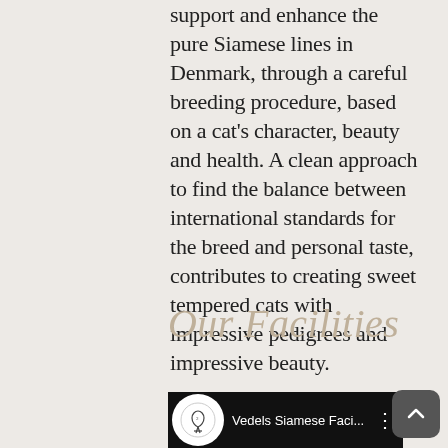support and enhance the pure Siamese lines in Denmark, through a careful breeding procedure, based on a cat's character, beauty and health. A clean approach to find the balance between international standards for the breed and personal taste, contributes to creating sweet tempered cats with impressive pedigrees and impressive beauty.
Our Facilities
[Figure (screenshot): Video bar showing a black background with a circular white logo of Vedels Siamese cattery and text 'Vedels Siamese Faci...' with a three-dot menu icon]